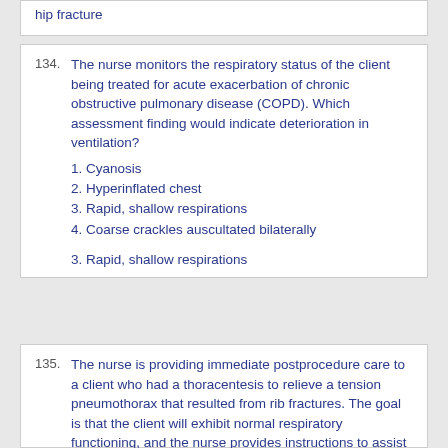hip fracture
134. The nurse monitors the respiratory status of the client being treated for acute exacerbation of chronic obstructive pulmonary disease (COPD). Which assessment finding would indicate deterioration in ventilation?
1. Cyanosis
2. Hyperinflated chest
3. Rapid, shallow respirations
4. Coarse crackles auscultated bilaterally
3. Rapid, shallow respirations
135. The nurse is providing immediate postprocedure care to a client who had a thoracentesis to relieve a tension pneumothorax that resulted from rib fractures. The goal is that the client will exhibit normal respiratory functioning, and the nurse provides instructions to assist the client toward this